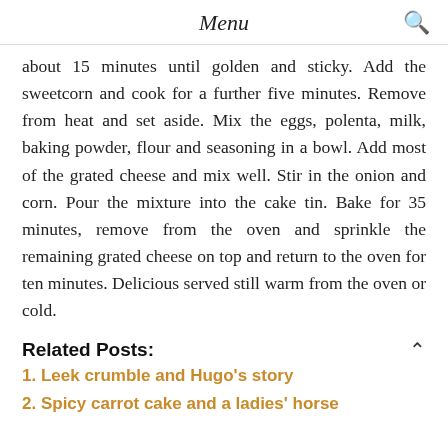Menu
about 15 minutes until golden and sticky. Add the sweetcorn and cook for a further five minutes. Remove from heat and set aside. Mix the eggs, polenta, milk, baking powder, flour and seasoning in a bowl. Add most of the grated cheese and mix well. Stir in the onion and corn. Pour the mixture into the cake tin. Bake for 35 minutes, remove from the oven and sprinkle the remaining grated cheese on top and return to the oven for ten minutes. Delicious served still warm from the oven or cold.
Related Posts:
Leek crumble and Hugo's story
Spicy carrot cake and a ladies' horse